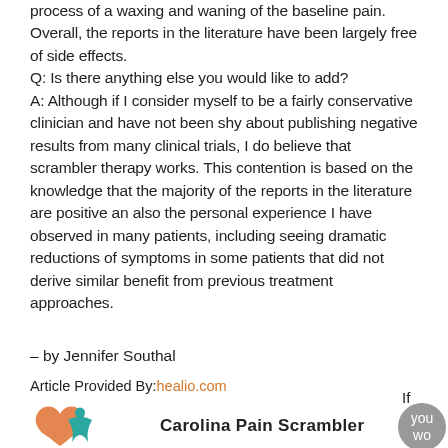process of a waxing and waning of the baseline pain. Overall, the reports in the literature have been largely free of side effects.
Q: Is there anything else you would like to add?
A: Although if I consider myself to be a fairly conservative clinician and have not been shy about publishing negative results from many clinical trials, I do believe that scrambler therapy works. This contention is based on the knowledge that the majority of the reports in the literature are positive an also the personal experience I have observed in many patients, including seeing dramatic reductions of symptoms in some patients that did not derive similar benefit from previous treatment approaches.
– by Jennifer Southal
Article Provided By: healio.com
[Figure (logo): Carolina Pain Scrambler logo with orange and teal swirl figure]
If you wo